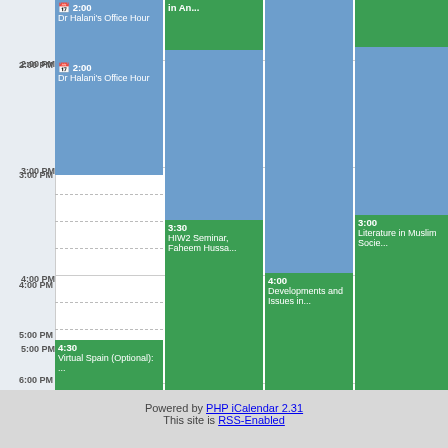[Figure (screenshot): Weekly calendar view showing scheduled events including Dr Halani's Office Hour, HIW2 Seminar Faheem Hussa..., Virtual Spain (Optional):..., Developments and Issues in..., and Literature in Muslim Socie... Events are color-coded blue and green across multiple day columns with time slots from 2:00 PM to 7:00 PM.]
Powered by PHP iCalendar 2.31
This site is RSS-Enabled